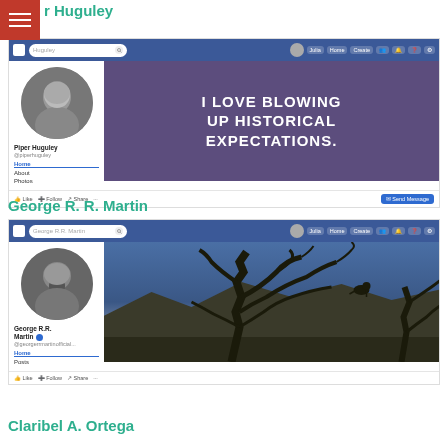Piper Huguley
[Figure (screenshot): Facebook profile page screenshot for Piper Huguley with cover photo reading 'I LOVE BLOWING UP HISTORICAL EXPECTATIONS.' in white text on dark purple background]
George R. R. Martin
[Figure (screenshot): Facebook profile page screenshot for George R.R. Martin with dark blue illustrated cover photo showing bare trees and a bird silhouette]
Claribel A. Ortega